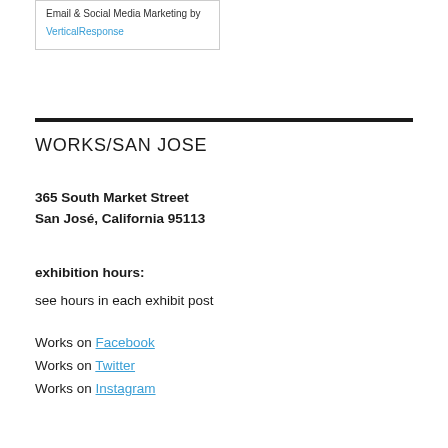Email & Social Media Marketing by VerticalResponse
WORKS/SAN JOSE
365 South Market Street
San José, California 95113
exhibition hours:
see hours in each exhibit post
Works on Facebook
Works on Twitter
Works on Instagram